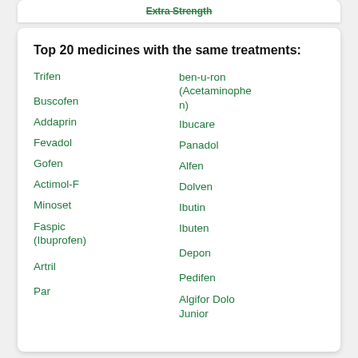Extra Strength
Top 20 medicines with the same treatments:
Trifen
Buscofen
Addaprin
Fevadol
Gofen
Actimol-F
Minoset
Faspic (Ibuprofen)
Artril
Par
ben-u-ron (Acetaminophen)
Ibucare
Panadol
Alfen
Dolven
Ibutin
Ibuten
Depon
Pedifen
Algifor Dolo Junior